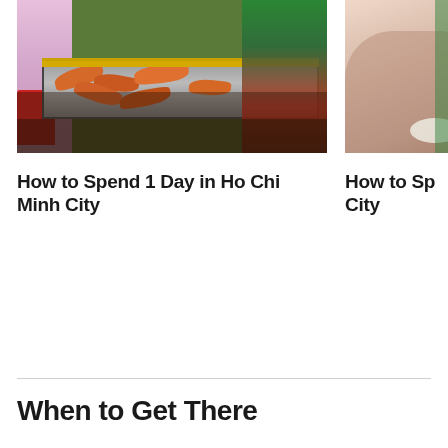[Figure (photo): Street food vendor grilling shrimp and seafood on a large flat griddle at a market in Ho Chi Minh City, with colorful baskets and crowds visible]
[Figure (photo): Partial view of a person at a food stall, holding a white bowl, with green clothing visible in background]
How to Spend 1 Day in Ho Chi Minh City
How to Sp... City
When to Get There